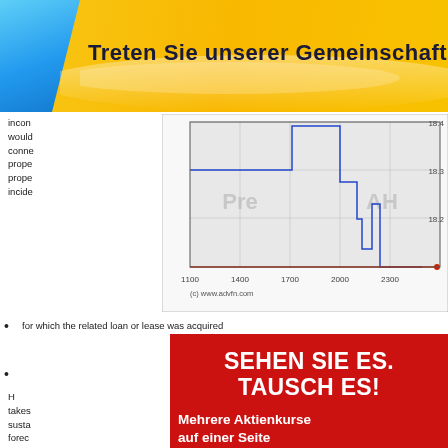Treten Sie unserer Gemeinschaft bei
incon
would
conno
prope
prope
incide
[Figure (continuous-plot): Stock price chart showing a blue line step chart with areas labeled 'Pre' and 'AH', x-axis showing values 1100, 1400, 1700, 2000, 2300, y-axis showing 18.2, 18.3, 18.4, with a red horizontal baseline. Caption: (c) www.advfn.com]
for which the related loan or lease was acquired
[Figure (infographic): Red advertisement banner with white bold text: 'SEHEN SIE ES. TAUSCH ES!' and 'Mehrere Aktienkurse auf einer Seite anzeigen' with 'Leicht anpassbare' at bottom, colorful decorative corner element.]
H
takes
susta
forec
taxab
the S
Leicht anpassbare